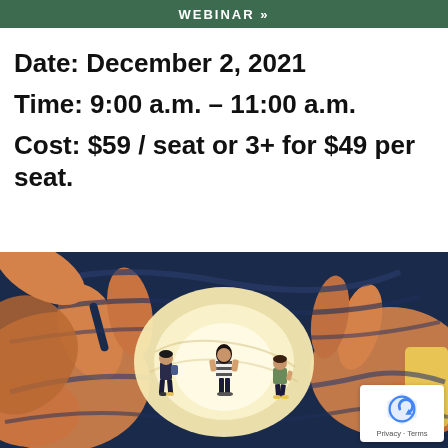WEBINAR »
Date: December 2, 2021
Time: 9:00 a.m. – 11:00 a.m.
Cost: $59 / seat or 3+ for $49 per seat.
[Figure (illustration): Illustration of several large hands surrounding three small human figures standing in a bright central circle, with dark swirling background suggesting pressure or overwhelm. The central figures appear to be students or young people.]